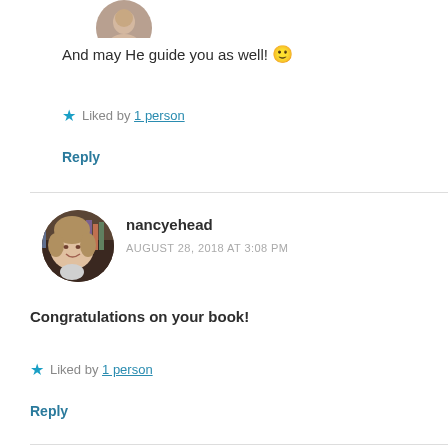[Figure (photo): Partial circular avatar photo at top of page, cropped]
And may He guide you as well! 🙂
★ Liked by 1 person
Reply
[Figure (photo): Circular avatar photo of nancyehead, a woman with short hair]
nancyehead
AUGUST 28, 2018 AT 3:08 PM
Congratulations on your book!
★ Liked by 1 person
Reply